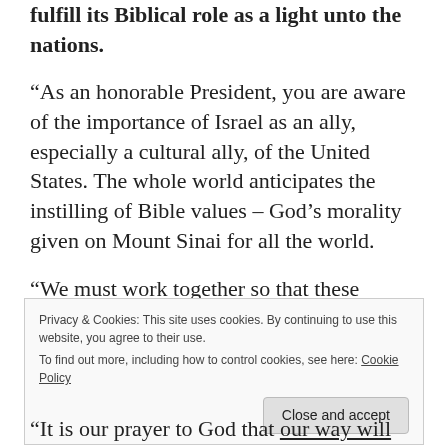fulfill its Biblical role as a light unto the nations.
“As an honorable President, you are aware of the importance of Israel as an ally, especially a cultural ally, of the United States. The whole world anticipates the instilling of Bible values – God’s morality given on Mount Sinai for all the world.
“We must work together so that these values will be the inalienable property of all mankind,”
Privacy & Cookies: This site uses cookies. By continuing to use this website, you agree to their use.
To find out more, including how to control cookies, see here: Cookie Policy
“It is our prayer to God that our way will